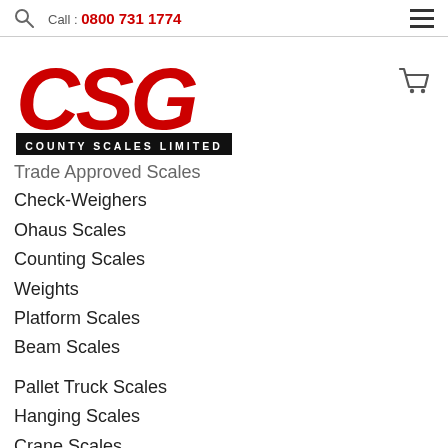Call : 0800 731 1774
[Figure (logo): CSG County Scales Limited logo — red stylized letters CSG above a black banner reading COUNTY SCALES LIMITED]
Trade Approved Scales
Check-Weighers
Ohaus Scales
Counting Scales
Weights
Platform Scales
Beam Scales
Pallet Truck Scales
Hanging Scales
Crane Scales
Medical Scales